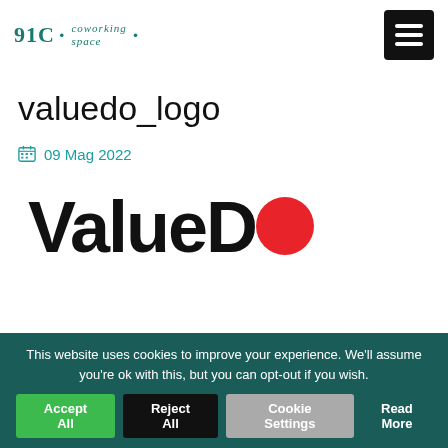91C : coworking space :
valuedo_logo
09 Mag 2022
[Figure (logo): ValueDo logo: bold black text 'ValueDo' with a red circle replacing the letter 'o' at the end]
This website uses cookies to improve your experience. We'll assume you're ok with this, but you can opt-out if you wish. Accept All  Reject All  Cookie Settings  Read More